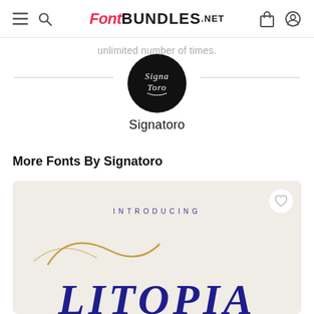FontBundles.net
unlimited number of times.
[Figure (logo): Signatoro brand logo: black circle with white cursive script reading 'Signa Toro']
Signatoro
More Fonts By Signatoro
[Figure (illustration): Font preview card on beige background showing 'INTRODUCING' in spaced blue caps and a large partially visible italic serif/script font name in navy blue and gold]